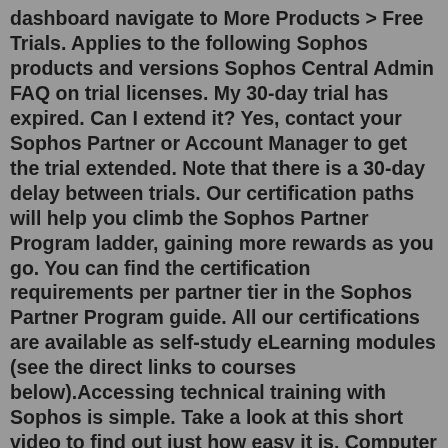dashboard navigate to More Products > Free Trials. Applies to the following Sophos products and versions Sophos Central Admin FAQ on trial licenses. My 30-day trial has expired. Can I extend it? Yes, contact your Sophos Partner or Account Manager to get the trial extended. Note that there is a 30-day delay between trials. Our certification paths will help you climb the Sophos Partner Program ladder, gaining more rewards as you go. You can find the certification requirements per partner tier in the Sophos Partner Program guide. All our certifications are available as self-study eLearning modules (see the direct links to courses below).Accessing technical training with Sophos is simple. Take a look at this short video to find out just how easy it is. Computer Learning Centre is certified to run Sophos training classes for partners and customers on behalf of Sophos. Sophos offers complete security with our full range of endpoint, encryption, email, web, network security, and UTM products. With the certification, you will be